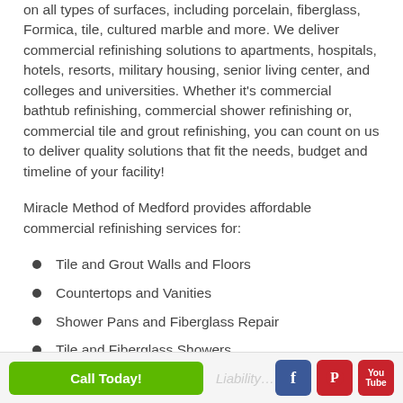on all types of surfaces, including porcelain, fiberglass, Formica, tile, cultured marble and more. We deliver commercial refinishing solutions to apartments, hospitals, hotels, resorts, military housing, senior living center, and colleges and universities. Whether it's commercial bathtub refinishing, commercial shower refinishing or, commercial tile and grout refinishing, you can count on us to deliver quality solutions that fit the needs, budget and timeline of your facility!
Miracle Method of Medford provides affordable commercial refinishing services for:
Tile and Grout Walls and Floors
Countertops and Vanities
Shower Pans and Fiberglass Repair
Tile and Fiberglass Showers
Call Today! | Liability In Your Facil...